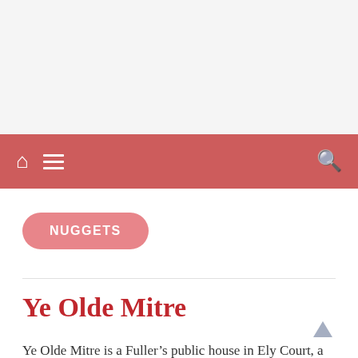[Figure (screenshot): Navigation bar with red/rose background containing a home icon, hamburger menu icon on the left, and search icon on the right]
NUGGETS
Ye Olde Mitre
Ye Olde Mitre is a Fuller’s public house in Ely Court, a narrow passage that links Ely Place and Hatton